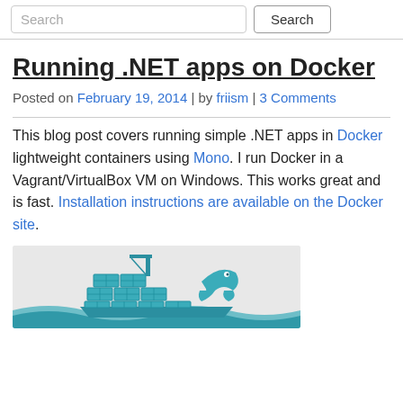Search
Running .NET apps on Docker
Posted on February 19, 2014 | by friism | 3 Comments
This blog post covers running simple .NET apps in Docker lightweight containers using Mono. I run Docker in a Vagrant/VirtualBox VM on Windows. This works great and is fast. Installation instructions are available on the Docker site.
[Figure (illustration): Docker whale logo illustration on a grey background]